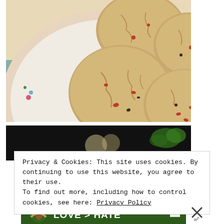[Figure (photo): Close-up photo of oatmeal cookies with cranberries and chocolate chips on a floral-patterned plate, shot from above on a white wood surface]
[Figure (photo): Dark background image partially visible showing green herbs/vegetables, likely a food photo]
Privacy & Cookies: This site uses cookies. By continuing to use this website, you agree to their use.
To find out more, including how to control cookies, see here: Privacy Policy
[Figure (photo): Advertisement banner with green background showing hands making a heart shape, with text 'LOVE > HATE' in white bold letters]